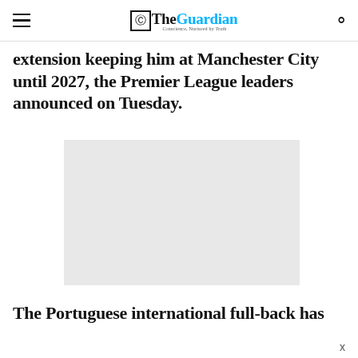The Guardian — Conscience, Nurtured by Truth
extension keeping him at Manchester City until 2027, the Premier League leaders announced on Tuesday.
[Figure (photo): Gray placeholder image, likely a photo of a footballer or related imagery]
The Portuguese international full-back has